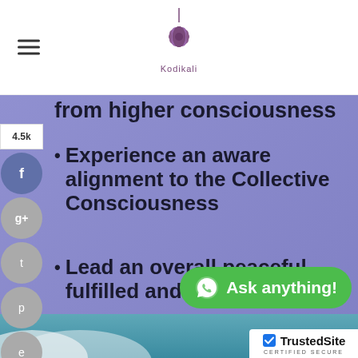Kodikali logo and hamburger menu
4.5k
from higher consciousness
Experience an aware alignment to the Collective Consciousness
Lead an overall peaceful, fulfilled and successful life
START NOW
Ask anything!
[Figure (logo): TrustedSite CERTIFIED SECURE badge]